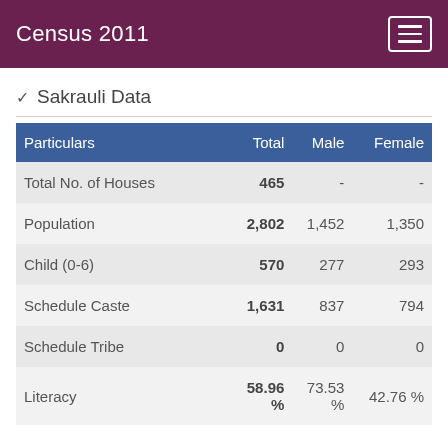Census 2011
Sakrauli Data
| Particulars | Total | Male | Female |
| --- | --- | --- | --- |
| Total No. of Houses | 465 | - | - |
| Population | 2,802 | 1,452 | 1,350 |
| Child (0-6) | 570 | 277 | 293 |
| Schedule Caste | 1,631 | 837 | 794 |
| Schedule Tribe | 0 | 0 | 0 |
| Literacy | 58.96 % | 73.53 % | 42.76 % |